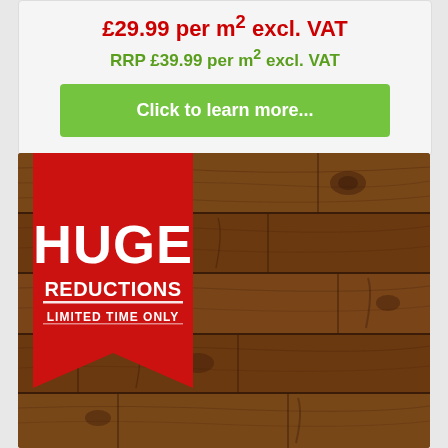£29.99 per m² excl. VAT
RRP £39.99 per m² excl. VAT
Click to learn more...
[Figure (photo): Wood laminate flooring product image with a red 'HUGE REDUCTIONS - LIMITED TIME ONLY' banner/ribbon overlay in the top-left corner]